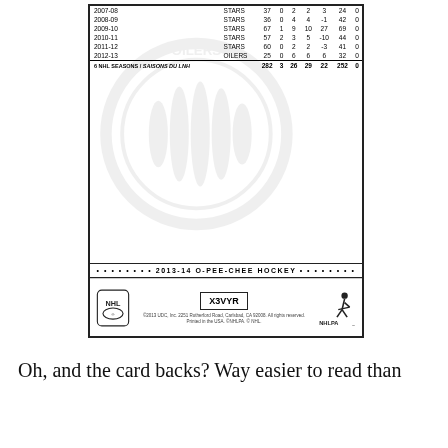[Figure (other): Back of a 2013-14 O-Pee-Chee Hockey trading card showing player statistics table with NHL seasons data for STARS and OILERS, Oilers watermark logo, dots band reading '2013-14 O-PEE-CHEE HOCKEY', NHL logo, card code X3VYR, NHLPA logo, and copyright text.]
Oh, and the card backs? Way easier to read than